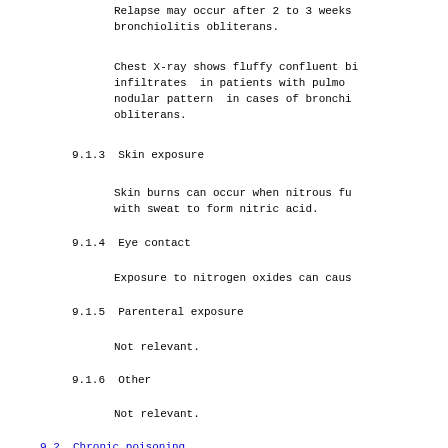Relapse may occur after 2 to 3 weeks bronchiolitis obliterans.
Chest X-ray shows fluffy confluent bi infiltrates in patients with pulmo nodular pattern in cases of bronchi obliterans.
9.1.3  Skin exposure
Skin burns can occur when nitrous fu with sweat to form nitric acid.
9.1.4  Eye contact
Exposure to nitrogen oxides can caus
9.1.5  Parenteral exposure
Not relevant.
9.1.6  Other
Not relevant.
9.2  Chronic poisoning
9.2.1  Ingestion